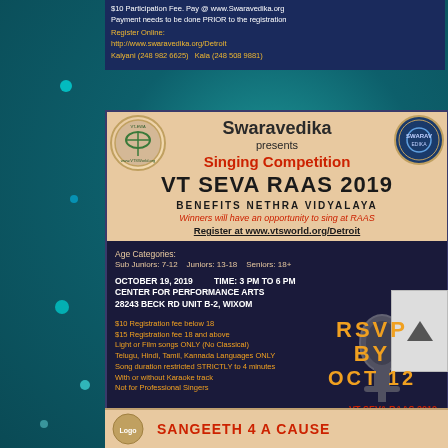$10 Participation Fee. Pay @ www.Swaravedika.org
Payment needs to be done PRIOR to the registration
Register Online:
http://www.swaravedika.org/Detroit
Kalyani (248 982 6625)   Kala (248 508 9881)
[Figure (infographic): Swaravedika VT SEVA RAAS 2019 Singing Competition flyer with event details, age categories, registration fees, and contact information]
SANGEETH 4 A CAUSE